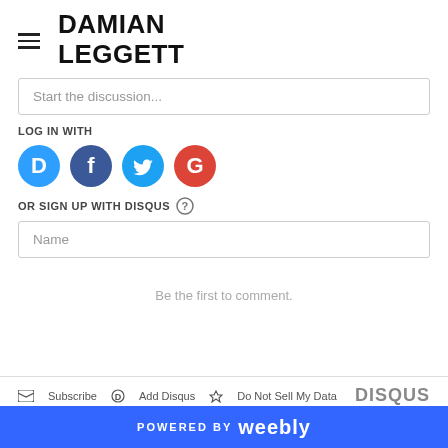DAMIAN LEGGETT
Start the discussion...
LOG IN WITH
[Figure (other): Social login icons: Disqus (blue circle with D), Facebook (dark blue circle with f), Twitter (light blue circle with bird), Google (red circle with G)]
OR SIGN UP WITH DISQUS ?
Name
Be the first to comment.
Subscribe  Add Disqus  Do Not Sell My Data  DISQUS
POWERED BY weebly